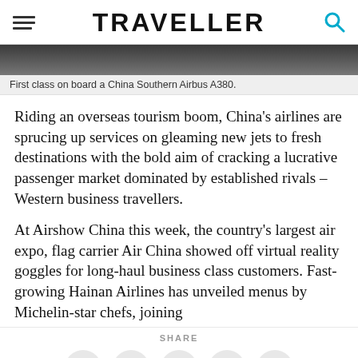TRAVELLER
[Figure (photo): First class cabin interior on board a China Southern Airbus A380, dark tones]
First class on board a China Southern Airbus A380.
Riding an overseas tourism boom, China's airlines are sprucing up services on gleaming new jets to fresh destinations with the bold aim of cracking a lucrative passenger market dominated by established rivals – Western business travellers.
At Airshow China this week, the country's largest air expo, flag carrier Air China showed off virtual reality goggles for long-haul business class customers. Fast-growing Hainan Airlines has unveiled menus by Michelin-star chefs, joining
SHARE